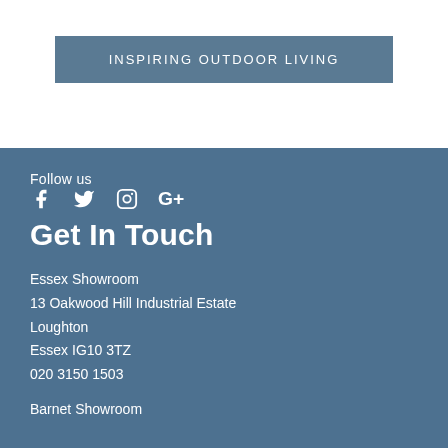INSPIRING OUTDOOR LIVING
Follow us
[Figure (illustration): Social media icons: Facebook, Twitter, Instagram, Google+]
Get In Touch
Essex Showroom
13 Oakwood Hill Industrial Estate
Loughton
Essex IG10 3TZ
020 3150 1503
Barnet Showroom